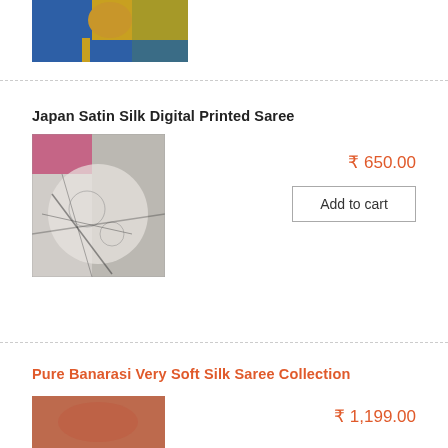[Figure (photo): Woman wearing a yellow and blue saree with gold border, partially cropped at top]
Japan Satin Silk Digital Printed Saree
[Figure (photo): Close-up of Japan Satin Silk Digital Printed Saree fabric with black and white floral/abstract print]
₹ 650.00
Add to cart
Pure Banarasi Very Soft Silk Saree Collection
₹ 1,199.00
[Figure (photo): Close-up of Pure Banarasi Very Soft Silk Saree Collection fabric in brownish-red tone, partially visible]